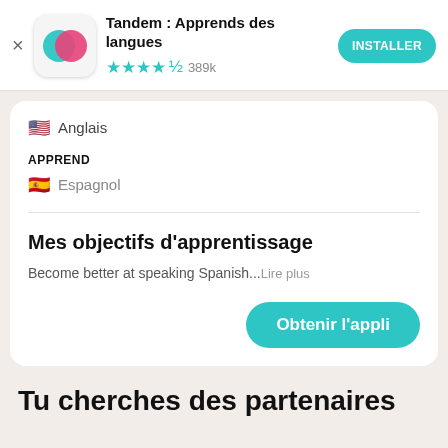[Figure (screenshot): Tandem app icon with teal and pink overlapping speech bubbles on white rounded square background]
Tandem : Apprends des langues
★★★★½ 389k
INSTALLER
🇺🇸 Anglais
APPREND
🇪🇸 Espagnol
Mes objectifs d'apprentissage
Become better at speaking Spanish...Lire plus
Obtenir l'appli
Tu cherches des partenaires